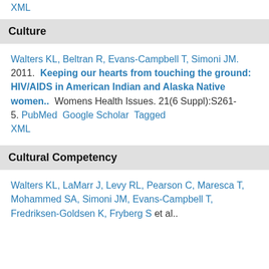XML
Culture
Walters KL, Beltran R, Evans-Campbell T, Simoni JM.  2011.  Keeping our hearts from touching the ground: HIV/AIDS in American Indian and Alaska Native women..  Womens Health Issues. 21(6 Suppl):S261-5.  PubMed  Google Scholar  Tagged  XML
Cultural Competency
Walters KL, LaMarr J, Levy RL, Pearson C, Maresca T, Mohammed SA, Simoni JM, Evans-Campbell T, Fredriksen-Goldsen K, Fryberg S et al..